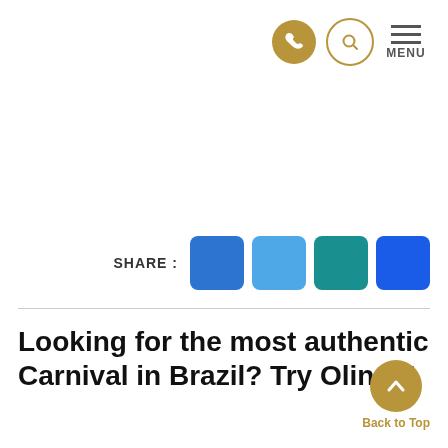[Figure (infographic): Website navigation header with a gold phone icon button, a gold-outline search icon button, and a hamburger menu icon labeled MENU]
[Figure (infographic): Social share buttons row: SHARE: label followed by four colored square buttons (blue, light blue, teal, dark blue)]
Looking for the most authentic Carnival in Brazil? Try Olinda!
[Figure (infographic): Gold circular back-to-top button with upward chevron arrow, labeled 'Back to Top']
Travelling around Brazil for months, I found myself in Rio de